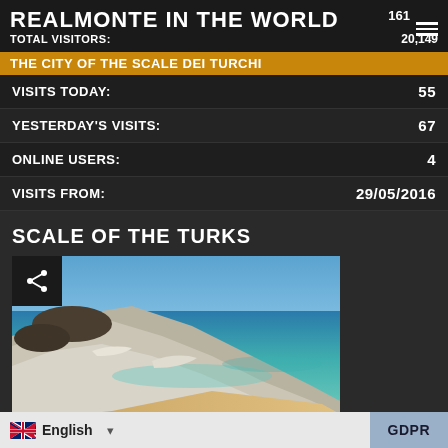REALMONTE IN THE WORLD
THE CITY OF THE SCALE DEI TURCHI
TOTAL VISITORS: 20,149
VISITS TODAY: 55
YESTERDAY'S VISITS: 67
ONLINE USERS: 4
VISITS FROM: 29/05/2016
SCALE OF THE TURKS
[Figure (photo): Aerial view of the Scale dei Turchi (Staircase of the Turks), showing white marl cliffs descending to a turquoise and blue sea with a sandy beach in Sicily, Italy.]
English
GDPR